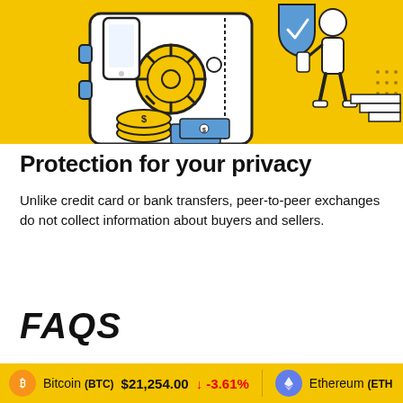[Figure (illustration): Illustration on yellow/gold background showing a large safe/vault with a lock wheel, coins with dollar sign, banknotes, a mobile phone, a shield with checkmark icon, and a person walking with a smartphone — representing financial security and privacy in crypto transactions.]
Protection for your privacy
Unlike credit card or bank transfers, peer-to-peer exchanges do not collect information about buyers and sellers.
FAQS
Bitcoin (BTC) $21,254.00 ↓ -3.61%   Ethereum (ETH